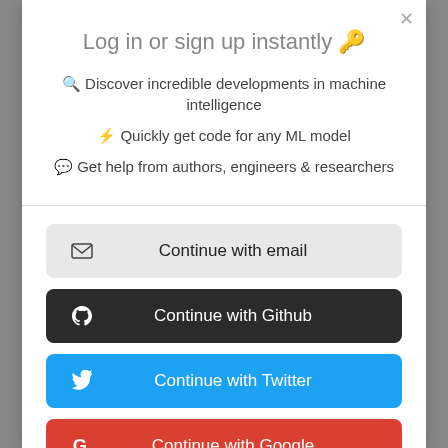Log in or sign up instantly 🔑
🔍 Discover incredible developments in machine intelligence
⚡ Quickly get code for any ML model
💬 Get help from authors, engineers & researchers
[Figure (screenshot): Continue with email button (gray background)]
[Figure (screenshot): Continue with Github button (dark/black background)]
[Figure (screenshot): Continue with Twitter button (blue background)]
[Figure (screenshot): Continue with Google button (red background)]
[Figure (screenshot): Continue with LinkedIn button (blue background)]